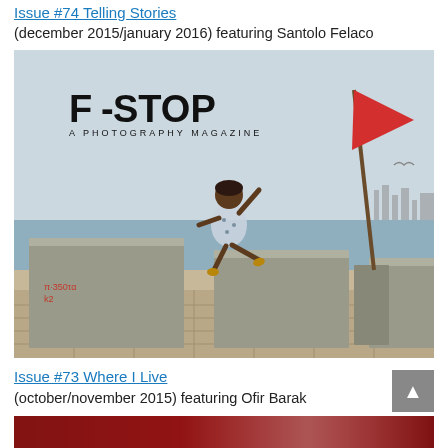Issue #74 Telling Stories
(december 2015/january 2016) featuring Santolo Felaco
[Figure (photo): F-STOP A PHOTOGRAPHY MAGAZINE cover image showing a child jumping between concrete blocks near a seaside promenade with a red flag on a pole in the background and city skyline visible in the distance.]
Issue #73 Where I Live
(october/november 2015) featuring Ofir Barak
[Figure (photo): Partial view of another magazine cover with dark red tones, cropped at the bottom of the page.]